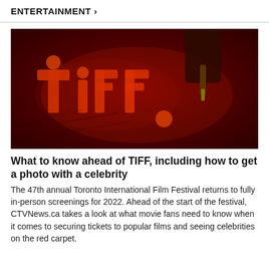ENTERTAINMENT >
[Figure (photo): Close-up of the illuminated TIFF (Toronto International Film Festival) logo in red/orange light on a dark red surface, with a hand holding what appears to be a pen or tool in the upper right corner.]
What to know ahead of TIFF, including how to get a photo with a celebrity
The 47th annual Toronto International Film Festival returns to fully in-person screenings for 2022. Ahead of the start of the festival, CTVNews.ca takes a look at what movie fans need to know when it comes to securing tickets to popular films and seeing celebrities on the red carpet.